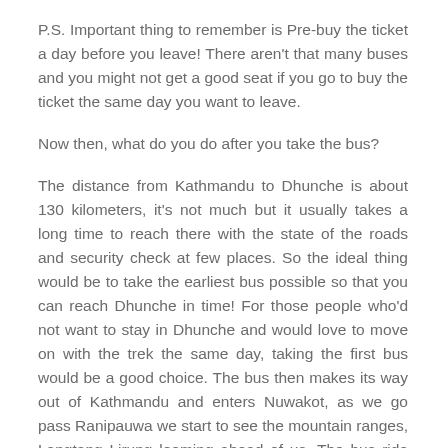P.S. Important thing to remember is Pre-buy the ticket a day before you leave! There aren't that many buses and you might not get a good seat if you go to buy the ticket the same day you want to leave.
Now then, what do you do after you take the bus?
The distance from Kathmandu to Dhunche is about 130 kilometers, it's not much but it usually takes a long time to reach there with the state of the roads and security check at few places. So the ideal thing would be to take the earliest bus possible so that you can reach Dhunche in time! For those people who'd not want to stay in Dhunche and would love to move on with the trek the same day, taking the first bus would be a good choice. The bus then makes its way out of Kathmandu and enters Nuwakot, as we go pass Ranipauwa we start to see the mountain ranges, Langtang Lirung looming ahead of us. The bus ride from Kathmandu to Dhunche is a fun ride, specially